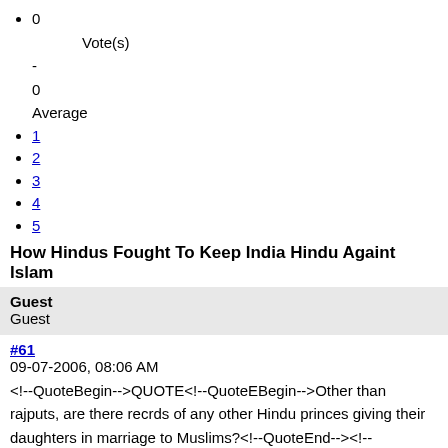0
Vote(s)
-
0
Average
1
2
3
4
5
How Hindus Fought To Keep India Hindu Againt Islam
Guest
Guest
#61
09-07-2006, 08:06 AM
<!--QuoteBegin-->QUOTE<!--QuoteEBegin-->Other than rajputs, are there recrds of any other Hindu princes giving their daughters in marriage to Muslims?<!--QuoteEnd--><!--QuoteEEnd-->

There was Ala-ud-din Khalji who is said to have made a
ct based alliance with the Yadavas of Deogiri (Mahrashtra)